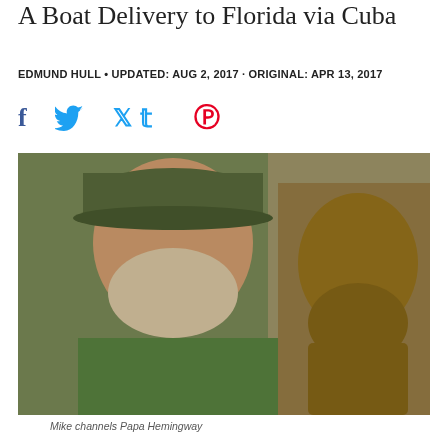A Boat Delivery to Florida via Cuba
EDMUND HULL • UPDATED: AUG 2, 2017 · ORIGINAL: APR 13, 2017
[Figure (other): Social media share icons: Facebook (f), Twitter (bird), Pinterest (p)]
[Figure (photo): A bearded man wearing a green baseball cap and green t-shirt stands next to a bronze bust sculpture of a bearded man, likely Ernest Hemingway, in an indoor setting.]
Mike channels Papa Hemingway